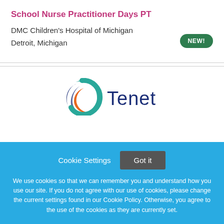School Nurse Practitioner Days PT
DMC Children's Hospital of Michigan
Detroit, Michigan
[Figure (logo): Tenet Healthcare logo with stylized swoosh marks in teal, navy blue, and orange, followed by the word 'Tenet' in dark navy blue text]
Cookie Settings   Got it
We use cookies so that we can remember you and understand how you use our site. If you do not agree with our use of cookies, please change the current settings found in our Cookie Policy. Otherwise, you agree to the use of the cookies as they are currently set.